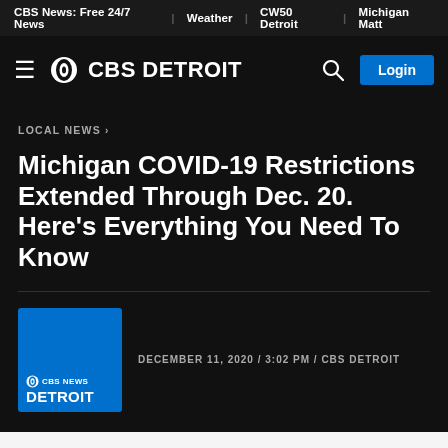CBS News: Free 24/7 News | Weather | CW50 Detroit | Michigan Matt
[Figure (logo): CBS Detroit logo with hamburger menu, CBS eye symbol, and Login button]
LOCAL NEWS ›
Michigan COVID-19 Restrictions Extended Through Dec. 20. Here's Everything You Need To Know
DECEMBER 11, 2020 / 3:02 PM / CBS DETROIT
(CBS DETROIT) — The partial shutdown of businesses...